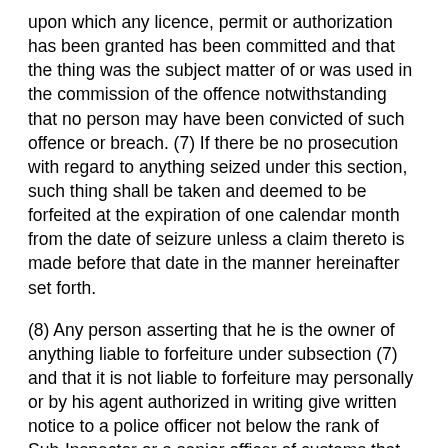upon which any licence, permit or authorization has been granted has been committed and that the thing was the subject matter of or was used in the commission of the offence notwithstanding that no person may have been convicted of such offence or breach. (7) If there be no prosecution with regard to anything seized under this section, such thing shall be taken and deemed to be forfeited at the expiration of one calendar month from the date of seizure unless a claim thereto is made before that date in the manner hereinafter set forth.
(8) Any person asserting that he is the owner of anything liable to forfeiture under subsection (7) and that it is not liable to forfeiture may personally or by his agent authorized in writing give written notice to a police officer not below the rank of Sub-Inspector or a senior officer of customs that he claims the same. (9) On receipt of such notice the police officer or the senior officer of customs shall refer the claim to a Sessions Court Judge in Peninsular Malaysia or to a Magistrate of the First Class in the State of Sabah or Sarawak for his decission.
(10) The Sessions Court Judge or the Magistrate to